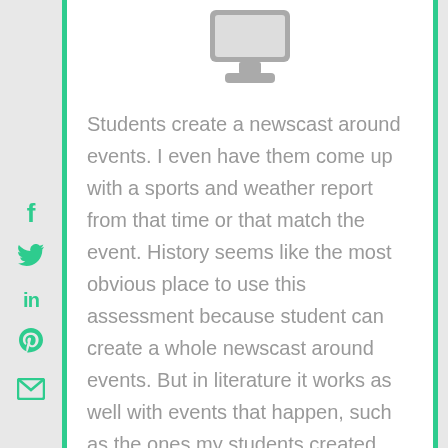[Figure (illustration): Gray monitor/computer screen icon at top of page]
Students create a newscast around events. I even have them come up with a sports and weather report from that time or that match the event. History seems like the most obvious place to use this assessment because student can create a whole newscast around events. But in literature it works as well with events that happen, such as the ones my students created after reading Frankenstein. It could also revolve around new